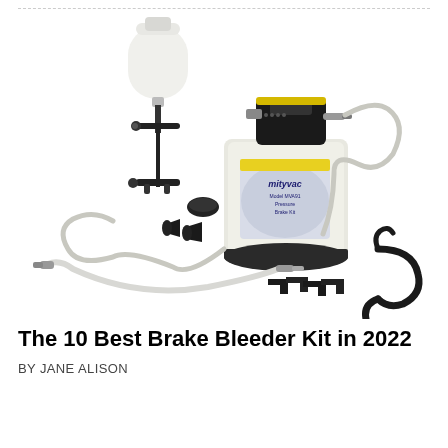[Figure (photo): A Mityvac brake bleeder vacuum pump kit with accessories including a collection bottle with stand, hoses, adapters, bleeder screws, and a hook bracket, displayed on a white background.]
The 10 Best Brake Bleeder Kit in 2022
BY JANE ALISON